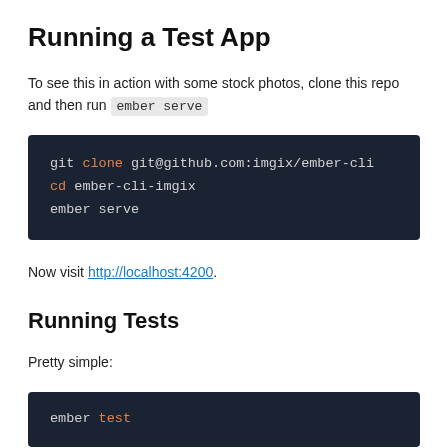Running a Test App
To see this in action with some stock photos, clone this repo and then run ember serve
[Figure (screenshot): Dark-themed code block showing: git clone git@github.com:imgix/ember-cli  cd ember-cli-imgix  ember serve]
Now visit http://localhost:4200.
Running Tests
Pretty simple:
[Figure (screenshot): Dark-themed code block showing: ember test]